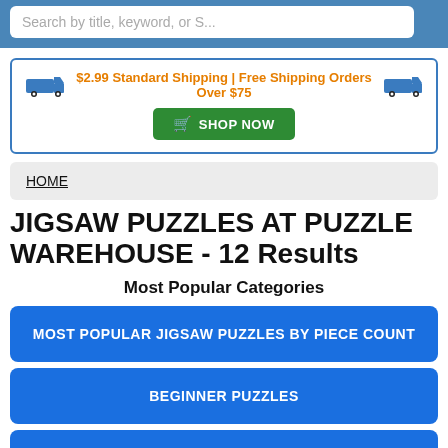Search by title, keyword, or S...
$2.99 Standard Shipping | Free Shipping Orders Over $75  SHOP NOW
HOME
JIGSAW PUZZLES AT PUZZLE WAREHOUSE - 12 Results
Most Popular Categories
MOST POPULAR JIGSAW PUZZLES BY PIECE COUNT
BEGINNER PUZZLES